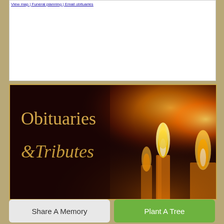View map | Funeral planning | Email obituaries
[Figure (photo): Dark maroon banner image with glowing candle flames on the right side and gold serif text reading 'Obituaries & Tributes' on the left side against a dark background.]
Share A Memory
Plant A Tree